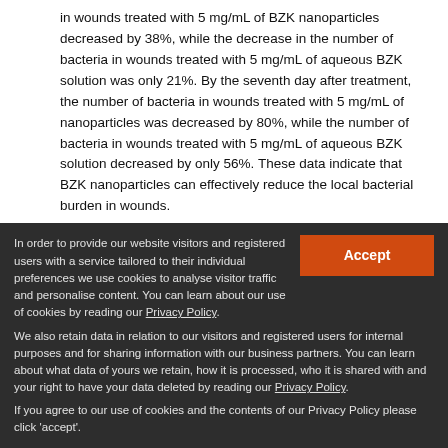in wounds treated with 5 mg/mL of BZK nanoparticles decreased by 38%, while the decrease in the number of bacteria in wounds treated with 5 mg/mL of aqueous BZK solution was only 21%. By the seventh day after treatment, the number of bacteria in wounds treated with 5 mg/mL of nanoparticles was decreased by 80%, while the number of bacteria in wounds treated with 5 mg/mL of aqueous BZK solution decreased by only 56%. These data indicate that BZK nanoparticles can effectively reduce the local bacterial burden in wounds.
[Figure (photo): Figure 7 image showing bar chart of bacterial counts and wound photos of MRSA infection in vivo]
Figure 7 Antibacterial activity against MRSA infection in vivo. (A) Bacterium
In order to provide our website visitors and registered users with a service tailored to their individual preferences we use cookies to analyse visitor traffic and personalise content. You can learn about our use of cookies by reading our Privacy Policy. We also retain data in relation to our visitors and registered users for internal purposes and for sharing information with our business partners. You can learn about what data of yours we retain, how it is processed, who it is shared with and your right to have your data deleted by reading our Privacy Policy. If you agree to our use of cookies and the contents of our Privacy Policy please click 'accept'.